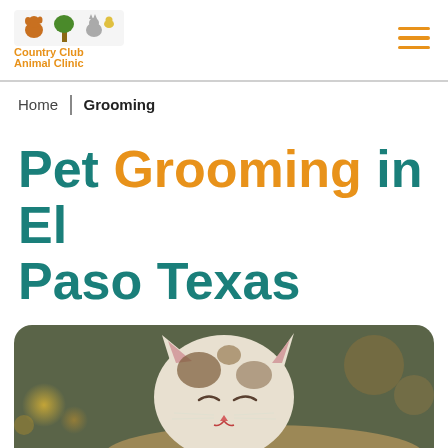[Figure (logo): Country Club Animal Clinic logo with cartoon animals and orange text]
Home | Grooming
Pet Grooming in El Paso Texas
[Figure (photo): Close-up photo of a cat resting, warm bokeh background]